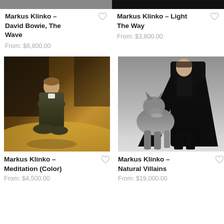[Figure (photo): Top strip: partial product photos cropped at top of page, two columns]
Markus Klinko – David Bowie, The Wave
From: $8,800.00
Markus Klinko – Light The Way
From: $3,800.00
[Figure (photo): Color photo of a man in a dark olive suit sitting/kneeling on a stage in warm amber light]
Markus Klinko – Meditation (Color)
From: $4,500.00
[Figure (photo): Black and white style photo of a man in a long black cloak walking with a large grey wolf]
Markus Klinko – Natural Villains
From: $19,000.00